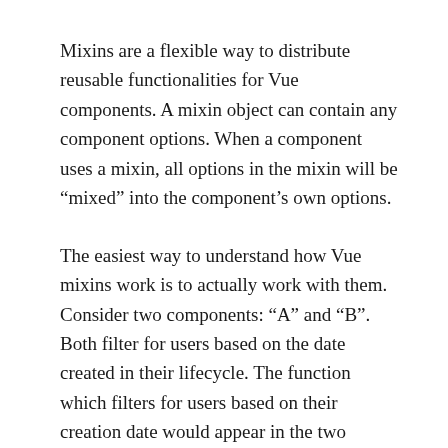Mixins are a flexible way to distribute reusable functionalities for Vue components. A mixin object can contain any component options. When a component uses a mixin, all options in the mixin will be “mixed” into the component’s own options.
The easiest way to understand how Vue mixins work is to actually work with them. Consider two components: “A” and “B”. Both filter for users based on the date created in their lifecycle. The function which filters for users based on their creation date would appear in the two different components,